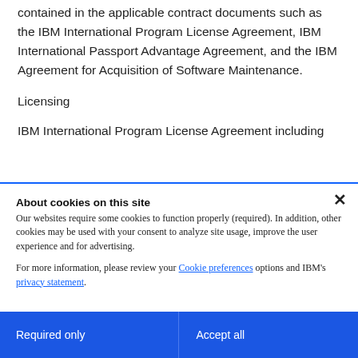contained in the applicable contract documents such as the IBM International Program License Agreement, IBM International Passport Advantage Agreement, and the IBM Agreement for Acquisition of Software Maintenance.
Licensing
IBM International Program License Agreement including
[Figure (screenshot): Cookie consent dialog overlay with close button (×), title 'About cookies on this site', body text about required and optional cookies, links for 'Cookie preferences' and 'privacy statement', and two blue buttons: 'Required only' and 'Accept all'.]